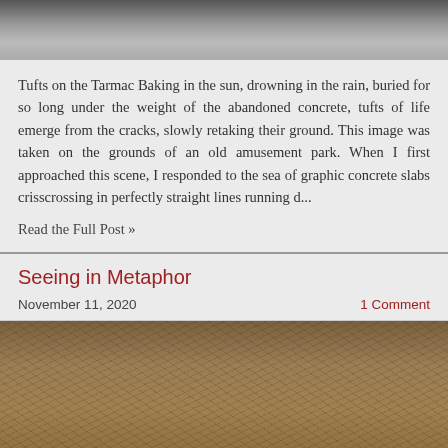[Figure (photo): Top portion of a black and white photo showing textured ground, possibly tarmac or concrete with grass tufts, cropped at top of page]
Tufts on the Tarmac Baking in the sun, drowning in the rain, buried for so long under the weight of the abandoned concrete, tufts of life emerge from the cracks, slowly retaking their ground. This image was taken on the grounds of an old amusement park. When I first approached this scene, I responded to the sea of graphic concrete slabs crisscrossing in perfectly straight lines running d...
Read the Full Post »
Seeing in Metaphor
November 11, 2020    1 Comment
[Figure (photo): Bottom photo showing tangled dry brown grass and twigs, earth-toned natural texture filling the bottom portion of the page]